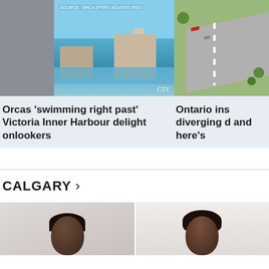[Figure (photo): Video still of orcas swimming in Victoria Inner Harbour with waterfront buildings, labeled SOURCE: ORCA SPIRIT ADVENTURES and CTV logo]
[Figure (photo): Aerial/render view of Ontario highway with diverging lanes, trees, and cars]
Orcas 'swimming right past' Victoria Inner Harbour delight onlookers
Ontario ins diverging d and here's
CALGARY >
[Figure (photo): Two people shown from shoulders up against a plain background, partially cropped at bottom of page]